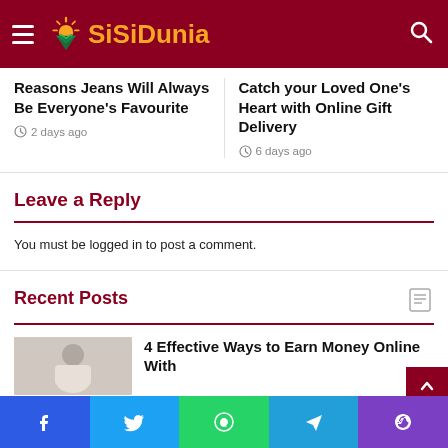SiSiDunia
Reasons Jeans Will Always Be Everyone's Favourite
2 days ago
Catch your Loved One's Heart with Online Gift Delivery
6 days ago
Leave a Reply
You must be logged in to post a comment.
Recent Posts
4 Effective Ways to Earn Money Online With